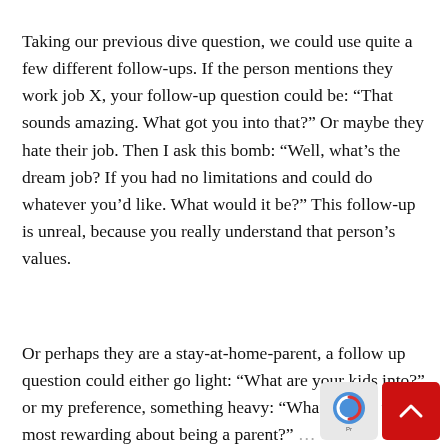Taking our previous dive question, we could use quite a few different follow-ups. If the person mentions they work job X, your follow-up question could be: “That sounds amazing. What got you into that?” Or maybe they hate their job. Then I ask this bomb: “Well, what’s the dream job? If you had no limitations and could do whatever you’d like. What would it be?” This follow-up is unreal, because you really understand that person’s values.
Or perhaps they are a stay-at-home-parent, a follow up question could either go light: “What are your kids into?” or my preference, something heavy: “What do you find most rewarding about being a parent?” …